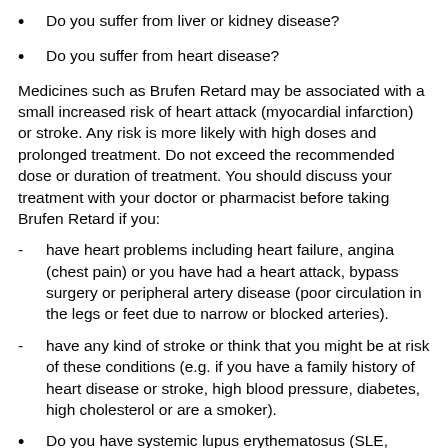Do you suffer from liver or kidney disease?
Do you suffer from heart disease?
Medicines such as Brufen Retard may be associated with a small increased risk of heart attack (myocardial infarction) or stroke. Any risk is more likely with high doses and prolonged treatment. Do not exceed the recommended dose or duration of treatment. You should discuss your treatment with your doctor or pharmacist before taking Brufen Retard if you:
have heart problems including heart failure, angina (chest pain) or you have had a heart attack, bypass surgery or peripheral artery disease (poor circulation in the legs or feet due to narrow or blocked arteries).
have any kind of stroke or think that you might be at risk of these conditions (e.g. if you have a family history of heart disease or stroke, high blood pressure, diabetes, high cholesterol or are a smoker).
Do you have systemic lupus erythematosus (SLE, sometimes known as lupus) or a connective tissue disease (autoimmune diseases affecting connective tissue)?